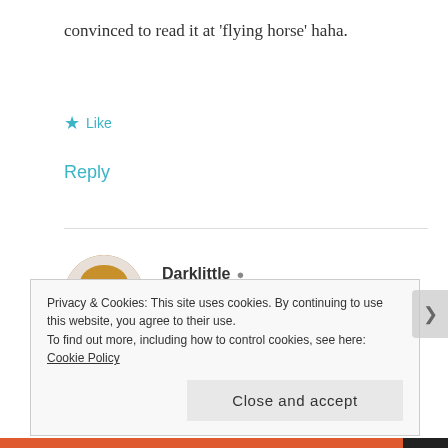convinced to read it at 'flying horse' haha.
★ Like
Reply
[Figure (photo): Circular avatar photo of Darklittle, a woman with long blonde hair and glasses]
Darklittle
FEBRUARY 18, 2014 AT 10:59 AM
Lol that horse is something special indeed :D. If you can accept being confused, you're in for a
Privacy & Cookies: This site uses cookies. By continuing to use this website, you agree to their use.
To find out more, including how to control cookies, see here: Cookie Policy
Close and accept